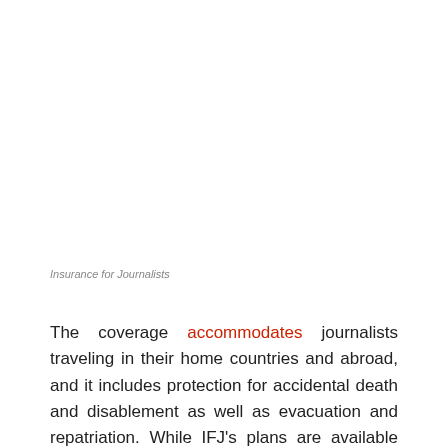Insurance for Journalists
The coverage accommodates journalists traveling in their home countries and abroad, and it includes protection for accidental death and disablement as well as evacuation and repatriation. While IFJ's plans are available for journalists covering sports, events, music, and cultural